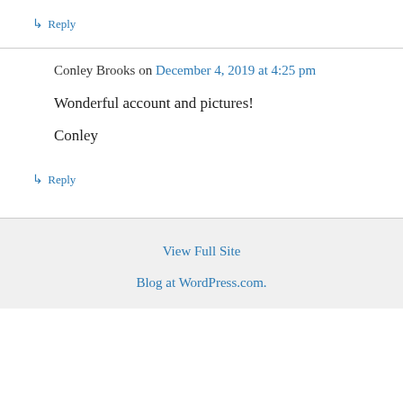↳ Reply
Conley Brooks on December 4, 2019 at 4:25 pm
Wonderful account and pictures!
Conley
↳ Reply
View Full Site
Blog at WordPress.com.